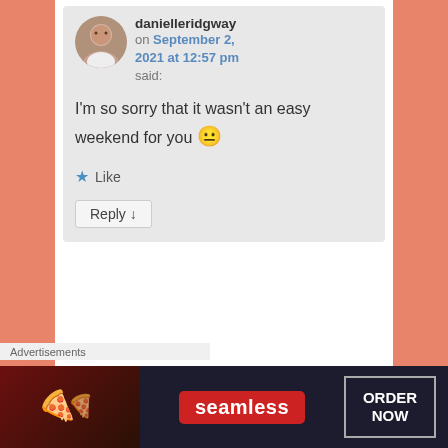[Figure (screenshot): A blog comment by user 'danielleridgway' posted on September 2, 2021 at 12:57 pm, saying 'I'm so sorry that it wasn't an easy weekend for you 😐', with a Like button (blue star) and a Reply button.]
Advertisements
[Figure (screenshot): Longreads advertisement banner in red: 'The best stories on the web – ours, and everyone else's' with a close (X) button.]
Advertisements
[Figure (screenshot): Seamless food delivery advertisement. Shows pizza images on left, Seamless logo in center, and 'ORDER NOW' button on right, on a dark background.]